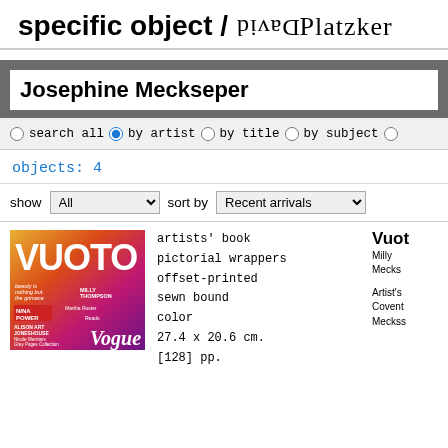specific object / David Platzker
Josephine Meckseper
search all  by artist  by title  by subject
objects: 4
show All  sort by Recent arrivals
[Figure (photo): Magazine cover of VUOTO with colorful gradient background in orange, pink and purple. Text includes NINA POWER, ALISON ART JONES HOUSE, and Vogue at bottom right.]
artists' book
pictorial wrappers
offset-printed
sewn bound
color
27.4 x 20.6 cm.
[128] pp.
Vuot
Milly 
Mecks

Artist's
Covent
Meckss